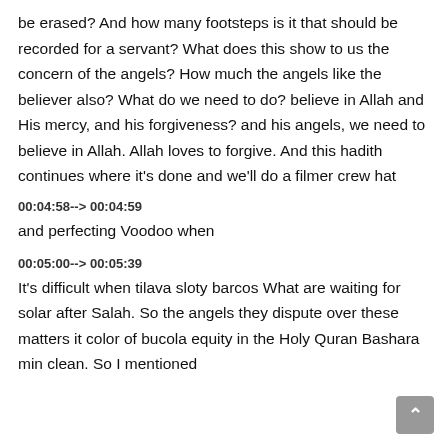be erased? And how many footsteps is it that should be recorded for a servant? What does this show to us the concern of the angels? How much the angels like the believer also? What do we need to do? believe in Allah and His mercy, and his forgiveness? and his angels, we need to believe in Allah. Allah loves to forgive. And this hadith continues where it's done and we'll do a filmer crew hat
00:04:58--> 00:04:59
and perfecting Voodoo when
00:05:00--> 00:05:39
It's difficult when tilava sloty barcos What are waiting for solar after Salah. So the angels they dispute over these matters it color of bucola equity in the Holy Quran Bashara min clean. So I mentioned